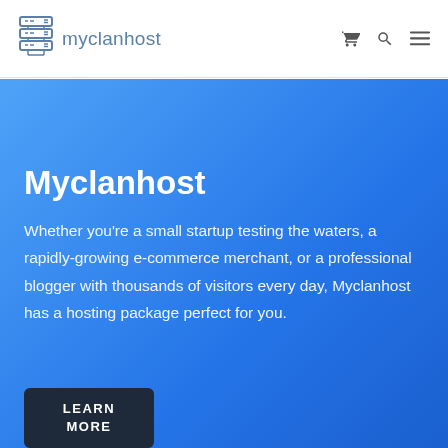myclanhost
Myclanhost
Whether you’re a small startup testing the waters, a rapidly-growing e-commerce merchant, or a professional blogger with thousands of visitors every day, Myclanhost has a hosting package perfect for you.
LEARN MORE